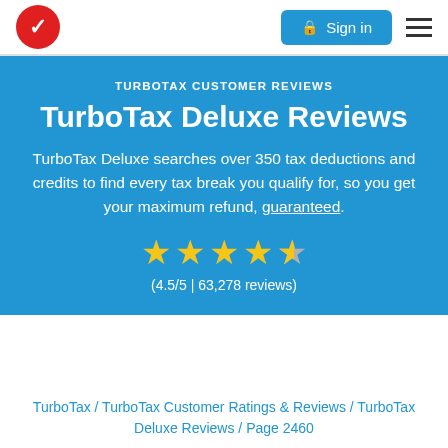TurboTax logo | Sign in | Menu
TURBOTAX CUSTOMER REVIEWS
TurboTax Deluxe Reviews
TurboTax Deluxe searches over 350 tax deductions and credits to find every tax break you qualify for, so you get your maximum refund, guaranteed.
[Figure (other): 4.5 out of 5 stars rating display with 4 full gold stars and 1 half gold/grey star]
(4.5/5 | 63,278 reviews)
TurboTax / TurboTax Customer Ratings & Reviews / TurboTax Deluxe Reviews / Page 2460